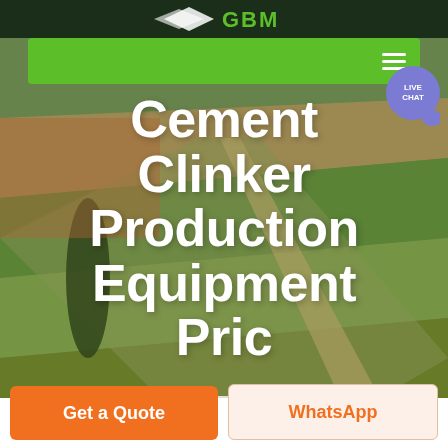GBM
Cement Clinker Production Equipment Pric
[Figure (screenshot): Website screenshot showing a GBM machinery company page with aerial farmland hero image, green navigation bar with hamburger menu, live chat bubble, and title text 'Cement Clinker Production Equipment Pric' overlaid on the hero image]
Get a Quote
WhatsApp